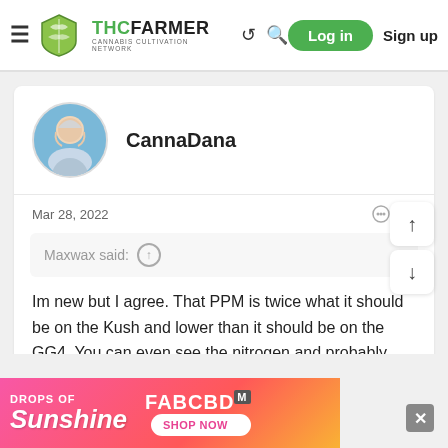THC FARMER — Cannabis Cultivation Network — Log in | Sign up
CannaDana
Mar 28, 2022  #4
Maxwax said: ↑
Im new but I agree. That PPM is twice what it should be on the Kush and lower than it should be on the GG4. You can even see the nitrogen and probably potassium deficiency clearly. Since the GG is looking ok that hot I wouldnt flush....yet so yeah straight waterings. Are you positive those numbers are correct?
[Figure (advertisement): DROPS OF Sunshine - FABCBD - SHOP NOW ad banner]